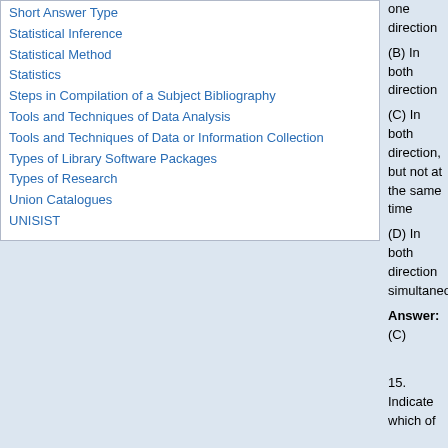Short Answer Type
Statistical Inference
Statistical Method
Statistics
Steps in Compilation of a Subject Bibliography
Tools and Techniques of Data Analysis
Tools and Techniques of Data or Information Collection
Types of Library Software Packages
Types of Research
Union Catalogues
UNISIST
one direction
(B) In both direction
(C) In both direction, but not at the same time
(D) In both direction simultaneously
Answer: (C)
15. Indicate which of